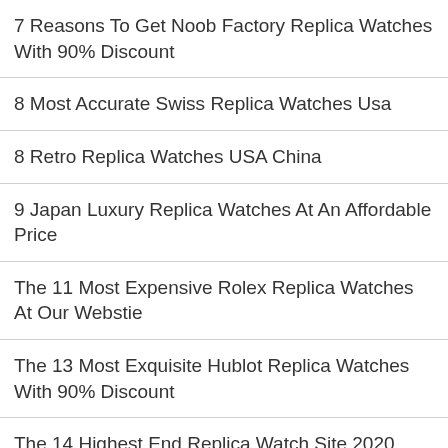7 Reasons To Get Noob Factory Replica Watches With 90% Discount
8 Most Accurate Swiss Replica Watches Usa
8 Retro Replica Watches USA China
9 Japan Luxury Replica Watches At An Affordable Price
The 11 Most Expensive Rolex Replica Watches At Our Webstie
The 13 Most Exquisite Hublot Replica Watches With 90% Discount
The 14 Highest End Replica Watch Site 2020 90% Off
Top 10 Sites For Replica Rolex Watches Wholesale Up To 60% Off
Top 10 Things You Need To Know About Cartier Replica